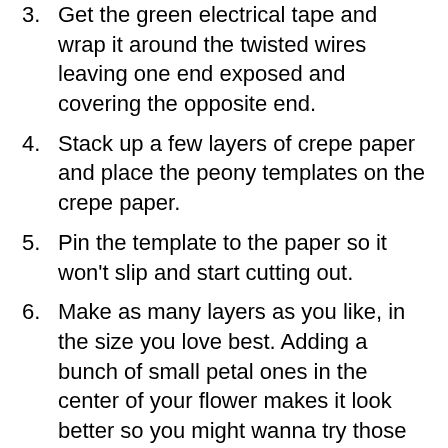3. Get the green electrical tape and wrap it around the twisted wires leaving one end exposed and covering the opposite end.
4. Stack up a few layers of crepe paper and place the peony templates on the crepe paper.
5. Pin the template to the paper so it won’t slip and start cutting out.
6. Make as many layers as you like, in the size you love best. Adding a bunch of small petal ones in the center of your flower makes it look better so you might wanna try those too. Then use the larger petal flowers for the